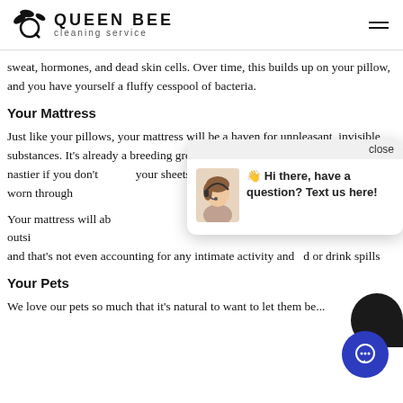QUEEN BEE cleaning service
sweat, hormones, and dead skin cells. Over time, this builds up on your pillow, and you have yourself a fluffy cesspool of bacteria.
Your Mattress
Just like your pillows, your mattress will be a haven for unpleasant, invisible substances. It's already a breeding ground for bacteria, but this becomes even nastier if you don't change your sheets often or the clothes you've worn through...
Your mattress will absorb... you've brought in from outside... and that's not even accounting for any intimate activity and food or drink spills
Your Pets
We love our pets so much that it's natural to want to let them be...